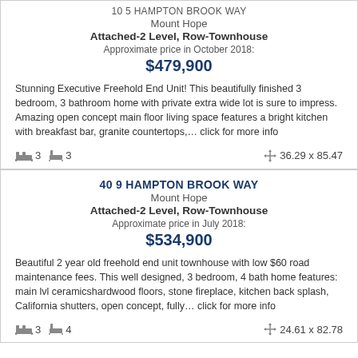10 5 HAMPTON BROOK WAY
Mount Hope
Attached-2 Level, Row-Townhouse
Approximate price in October 2018:
$479,900
Stunning Executive Freehold End Unit! This beautifully finished 3 bedroom, 3 bathroom home with private extra wide lot is sure to impress. Amazing open concept main floor living space features a bright kitchen with breakfast bar, granite countertops,… click for more info
3 bedrooms, 3 bathrooms, 36.29 x 85.47
40 9 HAMPTON BROOK WAY
Mount Hope
Attached-2 Level, Row-Townhouse
Approximate price in July 2018:
$534,900
Beautiful 2 year old freehold end unit townhouse with low $60 road maintenance fees. This well designed, 3 bedroom, 4 bath home features: main lvl ceramicshardwood floors, stone fireplace, kitchen back splash, California shutters, open concept, fully… click for more info
3 bedrooms, 4 bathrooms, 24.61 x 82.78